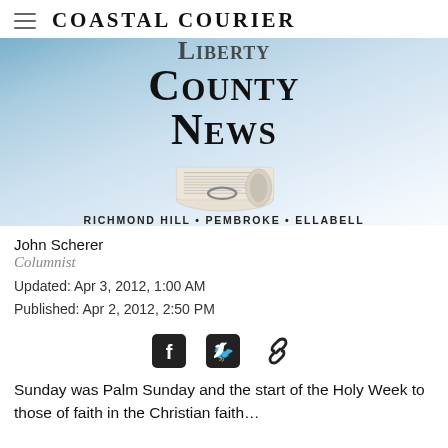Coastal Courier
[Figure (illustration): Liberty County News banner with rolled newspaper image and tagline 'RICHMOND HILL • PEMBROKE • ELLABELL' on a blue gradient background]
John Scherer
Columnist
Updated: Apr 3, 2012, 1:00 AM
Published: Apr 2, 2012, 2:50 PM
[Figure (infographic): Social sharing icons: Facebook, Twitter, link/chain]
Sunday was Palm Sunday and the start of the Holy Week to those of faith in the Christian faith...